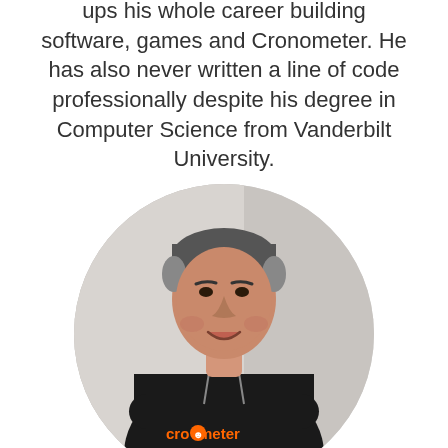ups his whole career building software, games and Cronometer. He has also never written a line of code professionally despite his degree in Computer Science from Vanderbilt University.
[Figure (photo): Circular cropped photo of a middle-aged man with short grey-brown hair, smiling with arms crossed, wearing a black Cronometer hoodie. Background is a light grey wall.]